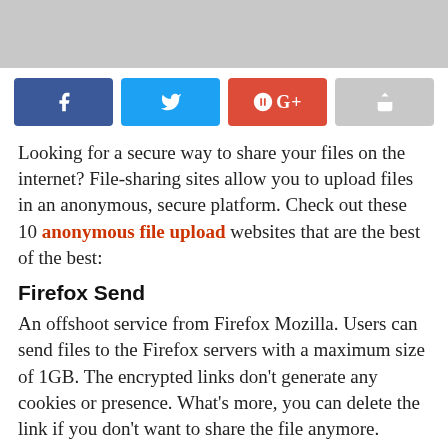[Figure (photo): Partial photo of hands near laptop keyboard on white desk, cropped at bottom]
[Figure (infographic): Social share buttons row: Facebook (blue), Twitter (light blue), Google+ (red), Share (gray)]
Looking for a secure way to share your files on the internet? File-sharing sites allow you to upload files in an anonymous, secure platform. Check out these 10 anonymous file upload websites that are the best of the best:
Firefox Send
An offshoot service from Firefox Mozilla. Users can send files to the Firefox servers with a maximum size of 1GB. The encrypted links don't generate any cookies or presence. What's more, you can delete the link if you don't want to share the file anymore.
Anonymousfiles.io